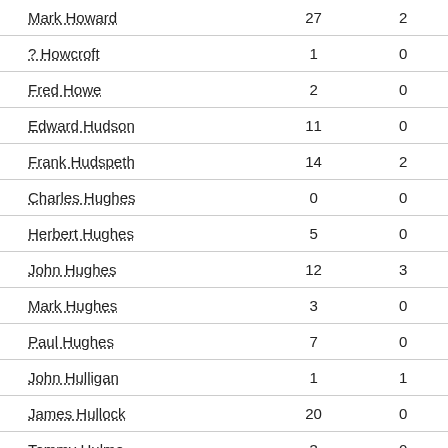| Name | Col1 | Col2 |
| --- | --- | --- |
| Mark Howard | 27 | 2 |
| ? Howcroft | 1 | 0 |
| Fred Howe | 2 | 0 |
| Edward Hudson | 11 | 0 |
| Frank Hudspeth | 14 | 2 |
| Charles Hughes | 0 | 0 |
| Herbert Hughes | 5 | 0 |
| John Hughes | 12 | 3 |
| Mark Hughes | 3 | 0 |
| Paul Hughes | 7 | 0 |
| John Hulligan | 1 | 1 |
| James Hullock | 20 | 0 |
| Tommy Hulme | 3 | 0 |